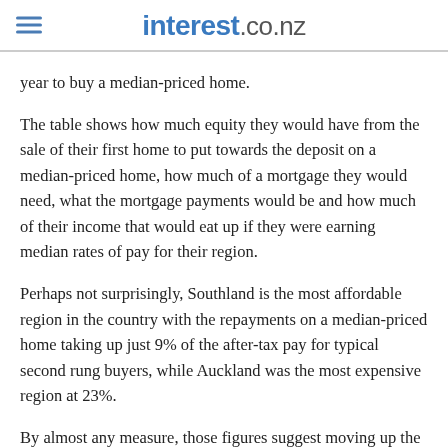interest.co.nz
year to buy a median-priced home.
The table shows how much equity they would have from the sale of their first home to put towards the deposit on a median-priced home, how much of a mortgage they would need, what the mortgage payments would be and how much of their income that would eat up if they were earning median rates of pay for their region.
Perhaps not surprisingly, Southland is the most affordable region in the country with the repayments on a median-priced home taking up just 9% of the after-tax pay for typical second rung buyers, while Auckland was the most expensive region at 23%.
By almost any measure, those figures suggest moving up the property ladder should be an extremely affordable proposition for second rung buyers in all parts of the